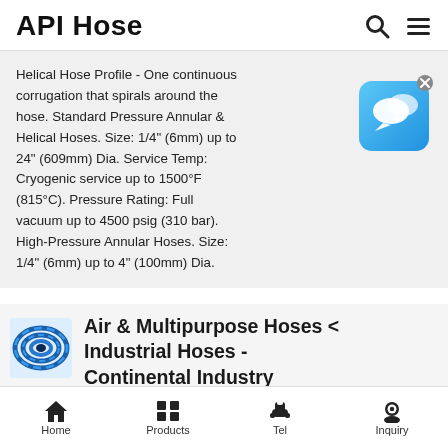API Hose
Helical Hose Profile - One continuous corrugation that spirals around the hose. Standard Pressure Annular & Helical Hoses. Size: 1/4" (6mm) up to 24" (609mm) Dia. Service Temp: Cryogenic service up to 1500°F (815°C). Pressure Rating: Full vacuum up to 4500 psig (310 bar). High-Pressure Annular Hoses. Size: 1/4" (6mm) up to 4" (100mm) Dia.
[Figure (screenshot): Blue chat/messenger app icon with speech bubble, on a blue gradient rounded square background with an X close button]
[Figure (photo): Coiled blue industrial hose product photo]
Air & Multipurpose Hoses < Industrial Hoses - Continental Industry
High flexibility and a hose outer coating...
Home | Products | Tel | Inquiry